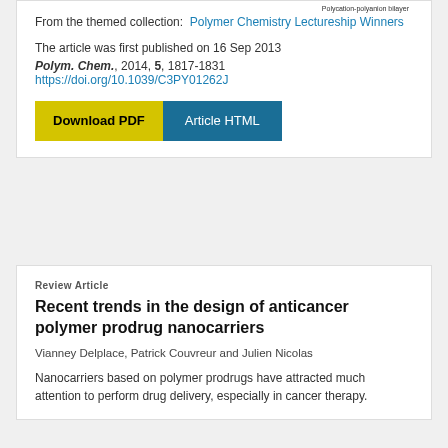Polycation-polyanion bilayer
From the themed collection: Polymer Chemistry Lectureship Winners
The article was first published on 16 Sep 2013
Polym. Chem., 2014, 5, 1817-1831
https://doi.org/10.1039/C3PY01262J
Download PDF
Article HTML
Review Article
Recent trends in the design of anticancer polymer prodrug nanocarriers
Vianney Delplace, Patrick Couvreur and Julien Nicolas
Nanocarriers based on polymer prodrugs have attracted much attention to perform drug delivery, especially in cancer therapy.